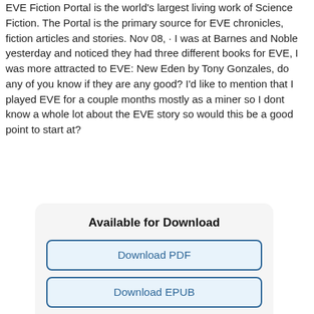EVE Fiction Portal is the world's largest living work of Science Fiction. The Portal is the primary source for EVE chronicles, fiction articles and stories. Nov 08, · I was at Barnes and Noble yesterday and noticed they had three different books for EVE, I was more attracted to EVE: New Eden by Tony Gonzales, do any of you know if they are any good? I'd like to mention that I played EVE for a couple months mostly as a miner so I dont know a whole lot about the EVE story so would this be a good point to start at?
Available for Download
Download PDF
Download EPUB
Download FB2
Download MOBI
Download TXT